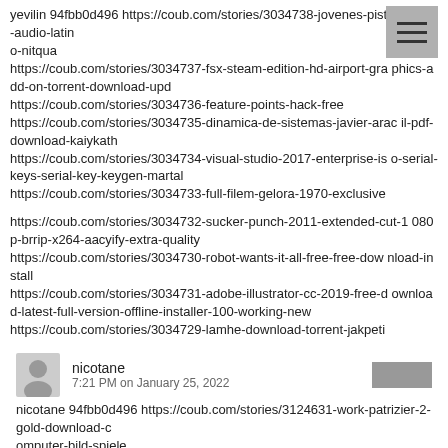yevilin 94fbb0d496 https://coub.com/stories/3034738-jovenes-pistoleros-2-audio-latin
o-nitqua
https://coub.com/stories/3034737-fsx-steam-edition-hd-airport-graphics-add-on-torrent-download-upd
https://coub.com/stories/3034736-feature-points-hack-free
https://coub.com/stories/3034735-dinamica-de-sistemas-javier-aracil-pdf-download-kaiykath
https://coub.com/stories/3034734-visual-studio-2017-enterprise-iso-serial-keys-serial-key-keygen-martal
https://coub.com/stories/3034733-full-filem-gelora-1970-exclusive
https://coub.com/stories/3034732-sucker-punch-2011-extended-cut-1080p-brrip-x264-aacyify-extra-quality
https://coub.com/stories/3034730-robot-wants-it-all-free-free-download-install
https://coub.com/stories/3034731-adobe-illustrator-cc-2019-free-download-latest-full-version-offline-installer-100-working-new
https://coub.com/stories/3034729-lamhe-download-torrent-jakpeti
nicotane
7:21 PM on January 25, 2022
nicotane 94fbb0d496 https://coub.com/stories/3124631-work-patrizier-2-gold-download-c
omputer-bild-spiele
https://coub.com/stories/3124628-mortal-kombat-5-portable-pc-bernvada